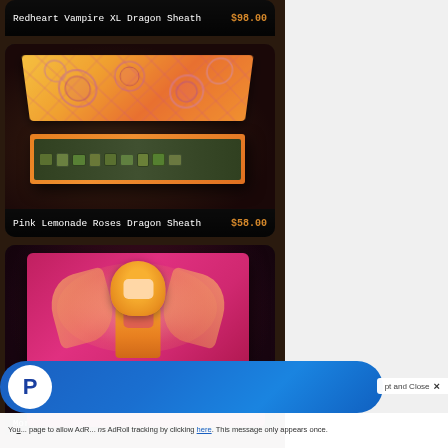[Figure (photo): Partial top view of Redheart Vampire XL Dragon Sheath product card showing price $98.00]
[Figure (photo): Pink Lemonade Roses Dragon Sheath - a wooden box with floral rose pattern on lid, open showing green dice inside, price $58.00]
[Figure (photo): Moronic Succubus XL Dragon Sheath - pink box with anime succubus character illustration on lid, open showing dark red dice inside, partially visible]
You... page to allow AdR... AdRoll tracking by clicking here. This message only appears once.
pt and Close ×